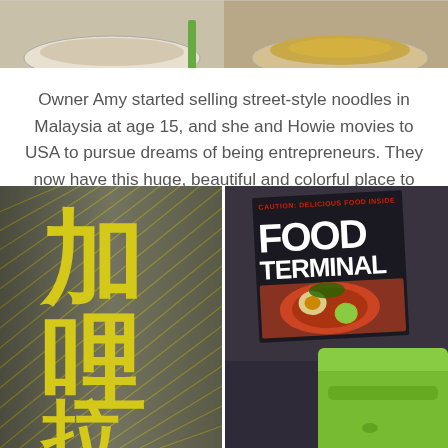[Figure (photo): Top portion of image showing two bowls of food (noodles/soup) on a table, cropped at the top of the page]
Owner Amy started selling street-style noodles in Malaysia at age 15, and she and Howie movies to USA to pursue dreams of being entrepreneurs. They now have this huge, beautiful and colorful place to call their own.
[Figure (photo): Left: Close-up of a wooden sign with large yellow Chinese characters (加哩 and partial third character) on dark background with diagonal line patterns. Right: A magazine titled 'FOOD TERMINAL' with CAUTION text and a food photo on a dark table, with a bright green chair/container visible in lower right corner.]